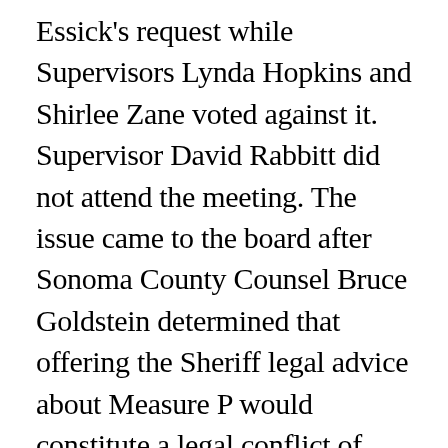Essick's request while Supervisors Lynda Hopkins and Shirlee Zane voted against it. Supervisor David Rabbitt did not attend the meeting. The issue came to the board after Sonoma County Counsel Bruce Goldstein determined that offering the Sheriff legal advice about Measure P would constitute a legal conflict of interest for the county's attorneys. Under regular circumstances, the county's in-house lawyers, the Sonoma County Counsel's Office, would give the Sheriff's Office legal advice